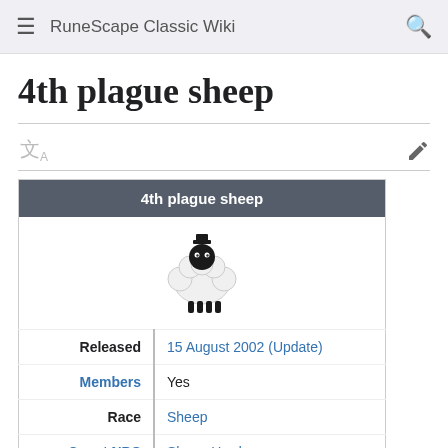RuneScape Classic Wiki
4th plague sheep
| 4th plague sheep |
| --- |
| Released | 15 August 2002 (Update) |
| Members | Yes |
| Race | Sheep |
| Quest NPC | Sheep Herder |
| Location | East Ardougne |